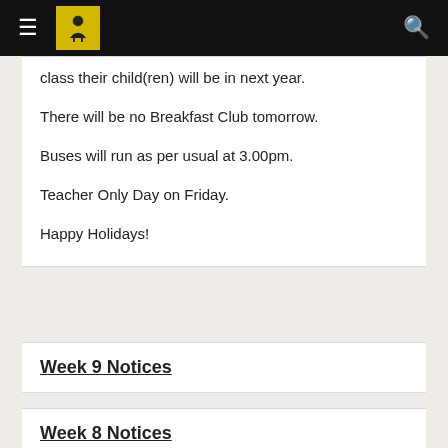Navigation bar with hamburger menu, school logo, and search icon
class their child(ren) will be in next year.
There will be no Breakfast Club tomorrow.
Buses will run as per usual at 3.00pm.
Teacher Only Day on Friday.
Happy Holidays!
Week 9 Notices
Week 8 Notices